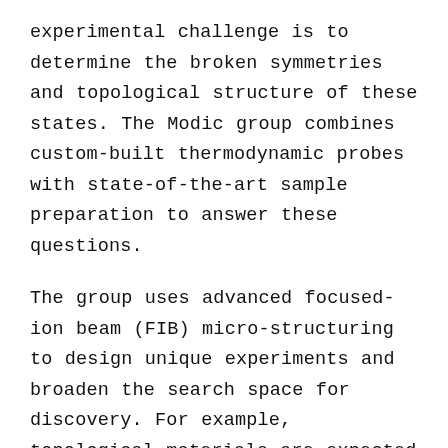experimental challenge is to determine the broken symmetries and topological structure of these states. The Modic group combines custom-built thermodynamic probes with state-of-the-art sample preparation to answer these questions.
The group uses advanced focused-ion beam (FIB) micro-structuring to design unique experiments and broaden the search space for discovery. For example, topological materials are expected to produce the next generation of electronics, but their surface-state properties are usually inaccessible to bulk measurements, such as resistivity or magnetization. Using the FIB, they can increase the surface-to-volume ratio of the sample and detect surface states directly. Modic and her